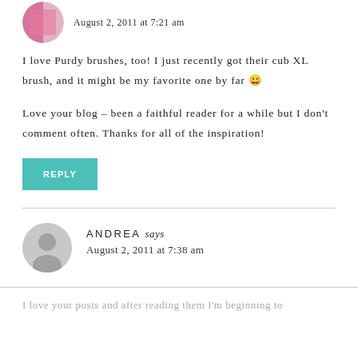[Figure (photo): Partial view of a commenter avatar (cropped at top)]
August 2, 2011 at 7:21 am
I love Purdy brushes, too! I just recently got their cub XL brush, and it might be my favorite one by far 😐
Love your blog – been a faithful reader for a while but I don't comment often. Thanks for all of the inspiration!
REPLY
[Figure (illustration): Default grey avatar silhouette for commenter ANDREA]
ANDREA says
August 2, 2011 at 7:38 am
I love your posts and after reading them I'm beginning to